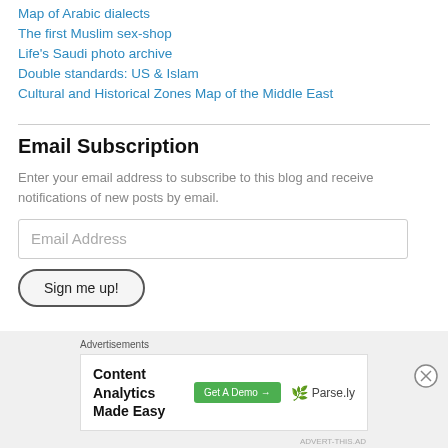Map of Arabic dialects
The first Muslim sex-shop
Life's Saudi photo archive
Double standards: US & Islam
Cultural and Historical Zones Map of the Middle East
Email Subscription
Enter your email address to subscribe to this blog and receive notifications of new posts by email.
Email Address
Sign me up!
Advertisements
[Figure (screenshot): Content Analytics Made Easy advertisement with Get A Demo button and Parse.ly logo]